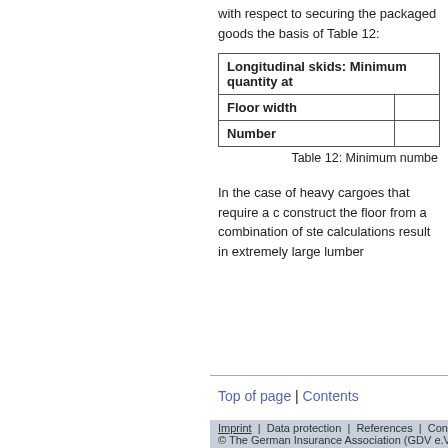with respect to securing the packaged goods the basis of Table 12:
| Longitudinal skids: Minimum quantity at |  |
| --- | --- |
| Floor width |  |
| Number |  |
Table 12: Minimum numbe
In the case of heavy cargoes that require a c construct the floor from a combination of ste calculations result in extremely large lumber
Top of page | Contents
Imprint | Data protection | References | Contact – Pr © The German Insurance Association (GDV e.V.), Be